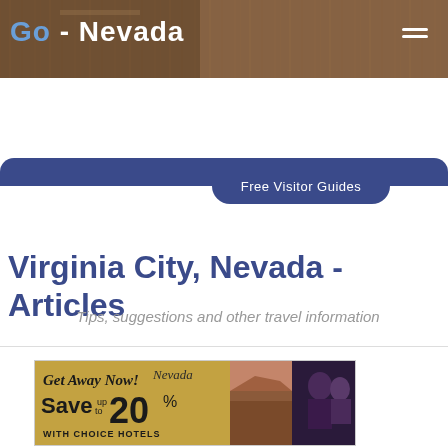Go-Nevada
Free Visitor Guides
Virginia City, Nevada - Articles
Tips, suggestions and other travel information
[Figure (illustration): Advertisement banner: Get Away Now! Save up to 20% with Choice Hotels, Nevada. Shows desert landscape and people.]